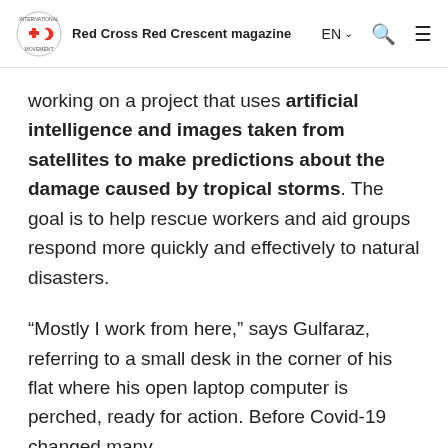Red Cross Red Crescent magazine
working on a project that uses artificial intelligence and images taken from satellites to make predictions about the damage caused by tropical storms. The goal is to help rescue workers and aid groups respond more quickly and effectively to natural disasters.
“Mostly I work from here,” says Gulfaraz, referring to a small desk in the corner of his flat where his open laptop computer is perched, ready for action. Before Covid-19 changed many